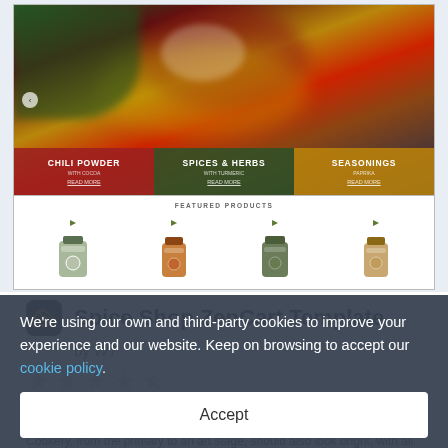[Figure (screenshot): Screenshot of a Spice Shop ZenCart e-commerce template showing a hero banner with colorful spices, three category buttons (Chili Powder, Spices & Herbs, Seasonings), and a featured products row with four spice jar images.]
Spice Shop ZenCart Template
by WT
Sales: 4
$181
We're using our own and third-party cookies to improve your experience and our website. Keep on browsing to accept our cookie policy.